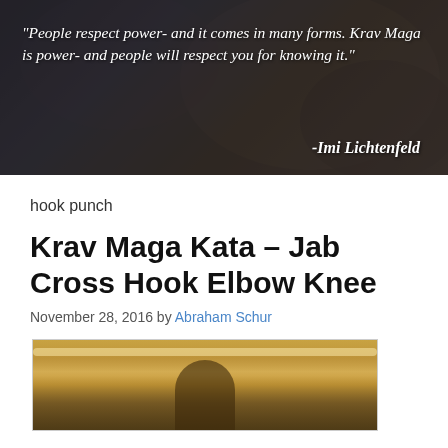[Figure (photo): Dark banner image showing martial arts/Krav Maga training scene with a quote overlay: 'People respect power- and it comes in many forms. Krav Maga is power- and people will respect you for knowing it.' attributed to Imi Lichtenfeld]
hook punch
Krav Maga Kata – Jab Cross Hook Elbow Knee
November 28, 2016 by Abraham Schur
[Figure (photo): Indoor martial arts gym/dojo scene with warm lighting, showing a person in a training space]